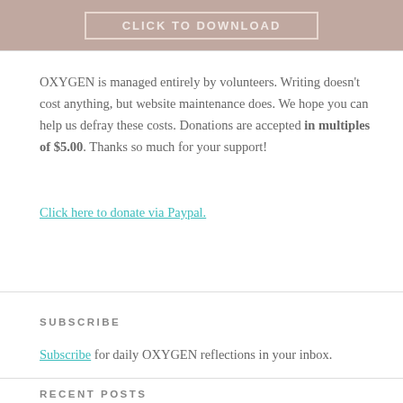[Figure (other): Button with text CLICK TO DOWNLOAD on mauve/rose background]
OXYGEN is managed entirely by volunteers. Writing doesn't cost anything, but website maintenance does. We hope you can help us defray these costs. Donations are accepted in multiples of $5.00. Thanks so much for your support!
Click here to donate via Paypal.
SUBSCRIBE
Subscribe for daily OXYGEN reflections in your inbox.
RECENT POSTS